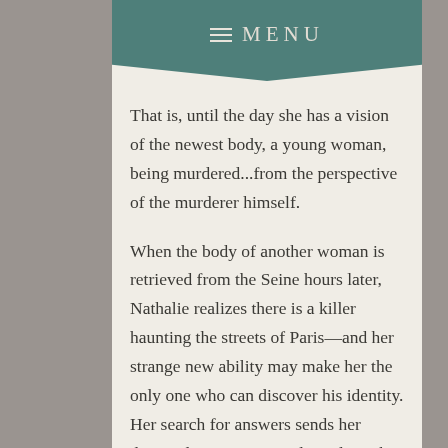≡ MENU
That is, until the day she has a vision of the newest body, a young woman, being murdered...from the perspective of the murderer himself.
When the body of another woman is retrieved from the Seine hours later, Nathalie realizes there is a killer haunting the streets of Paris—and her strange new ability may make her the only one who can discover his identity. Her search for answers sends her down a long, twisty road involving her mentally ill aunt, a